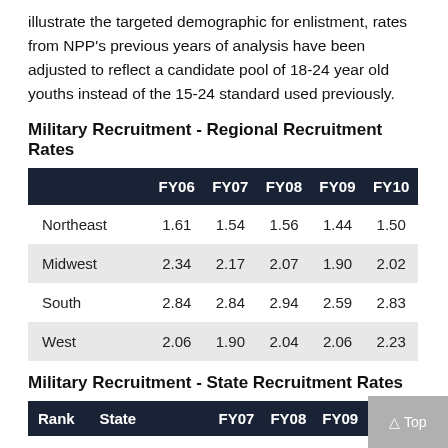illustrate the targeted demographic for enlistment, rates from NPP's previous years of analysis have been adjusted to reflect a candidate pool of 18-24 year old youths instead of the 15-24 standard used previously.
Military Recruitment - Regional Recruitment Rates
|  | FY06 | FY07 | FY08 | FY09 | FY10 |
| --- | --- | --- | --- | --- | --- |
| Northeast | 1.61 | 1.54 | 1.56 | 1.44 | 1.50 |
| Midwest | 2.34 | 2.17 | 2.07 | 1.90 | 2.02 |
| South | 2.84 | 2.84 | 2.94 | 2.59 | 2.83 |
| West | 2.06 | 1.90 | 2.04 | 2.06 | 2.23 |
Military Recruitment - State Recruitment Rates
| Rank | State |  | FY07 | FY08 | FY09 | FY10 |
| --- | --- | --- | --- | --- | --- | --- |